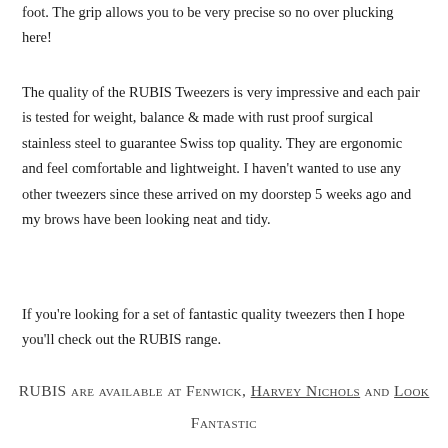foot. The grip allows you to be very precise so no over plucking here!
The quality of the RUBIS Tweezers is very impressive and each pair is tested for weight, balance & made with rust proof surgical stainless steel to guarantee Swiss top quality. They are ergonomic and feel comfortable and lightweight. I haven't wanted to use any other tweezers since these arrived on my doorstep 5 weeks ago and my brows have been looking neat and tidy.
If you're looking for a set of fantastic quality tweezers then I hope you'll check out the RUBIS range.
RUBIS are available at Fenwick, Harvey Nichols and Look Fantastic